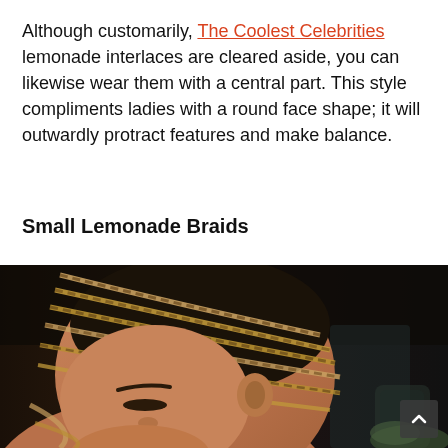Although customarily, The Coolest Celebrities lemonade interlaces are cleared aside, you can likewise wear them with a central part. This style compliments ladies with a round face shape; it will outwardly protract features and make balance.
Small Lemonade Braids
[Figure (photo): Close-up side profile of a woman with small lemonade braids swept to the side, dark background with blurred objects.]